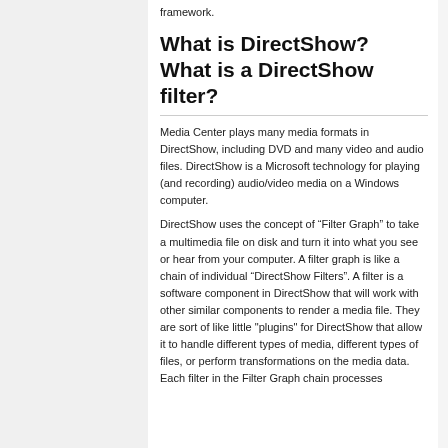framework.
What is DirectShow? What is a DirectShow filter?
Media Center plays many media formats in DirectShow, including DVD and many video and audio files. DirectShow is a Microsoft technology for playing (and recording) audio/video media on a Windows computer.
DirectShow uses the concept of “Filter Graph” to take a multimedia file on disk and turn it into what you see or hear from your computer. A filter graph is like a chain of individual “DirectShow Filters”. A filter is a software component in DirectShow that will work with other similar components to render a media file. They are sort of like little "plugins" for DirectShow that allow it to handle different types of media, different types of files, or perform transformations on the media data. Each filter in the Filter Graph chain processes